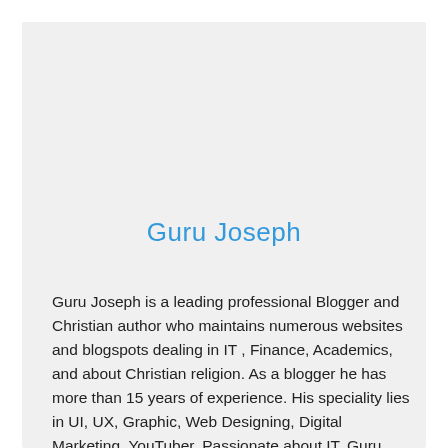Guru Joseph
Guru Joseph is a leading professional Blogger and Christian author who maintains numerous websites and blogspots dealing in IT , Finance, Academics, and about Christian religion. As a blogger he has more than 15 years of experience. His speciality lies in UI, UX, Graphic, Web Designing, Digital Marketing, YouTuber, Passionate about IT. Guru Joseph is one of the top UI, UX Designer and Digital Marketing